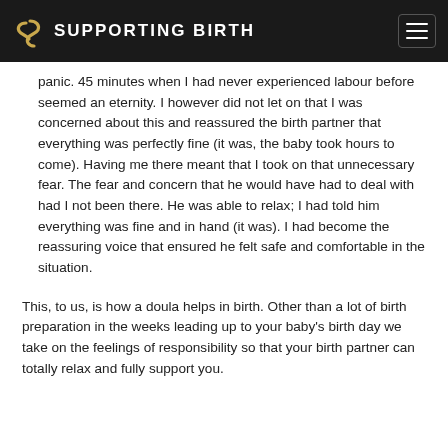SUPPORTING BIRTH
panic. 45 minutes when I had never experienced labour before seemed an eternity. I however did not let on that I was concerned about this and reassured the birth partner that everything was perfectly fine (it was, the baby took hours to come). Having me there meant that I took on that unnecessary fear. The fear and concern that he would have had to deal with had I not been there. He was able to relax; I had told him everything was fine and in hand (it was). I had become the reassuring voice that ensured he felt safe and comfortable in the situation.
This, to us, is how a doula helps in birth. Other than a lot of birth preparation in the weeks leading up to your baby's birth day we take on the feelings of responsibility so that your birth partner can totally relax and fully support you.